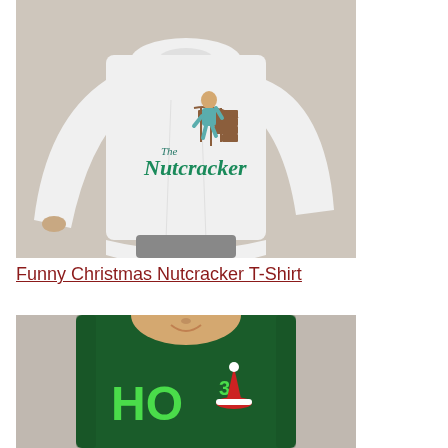[Figure (photo): White long-sleeve t-shirt on a beige background, worn by a person. The shirt features an illustration of a child on stairs with the text 'The Nutcracker' in teal/green lettering.]
Funny Christmas Nutcracker T-Shirt
[Figure (photo): Dark green sweatshirt worn by a smiling person. The shirt shows large green text 'HO' with a superscript '3' and a Santa hat illustration, referencing the math joke HO cubed = HO HO HO.]